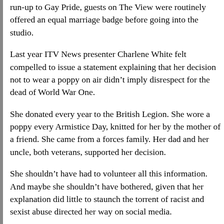run-up to Gay Pride, guests on The View were routinely offered an equal marriage badge before going into the studio.
Last year ITV News presenter Charlene White felt compelled to issue a statement explaining that her decision not to wear a poppy on air didn't imply disrespect for the dead of World War One.
She donated every year to the British Legion. She wore a poppy every Armistice Day, knitted for her by the mother of a friend. She came from a forces family. Her dad and her uncle, both veterans, supported her decision.
She shouldn't have had to volunteer all this information. And maybe she shouldn't have bothered, given that her explanation did little to staunch the torrent of racist and sexist abuse directed her way on social media.
If Bert Trautmann were still around, would he be...